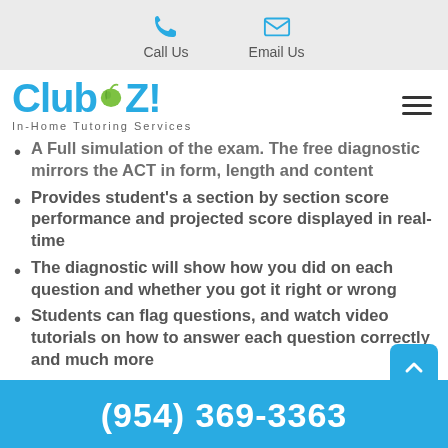Call Us | Email Us
[Figure (logo): Club Z! In-Home Tutoring Services logo with apple icon]
A Full simulation of the exam. The free diagnostic mirrors the ACT in form, length and content
Provides student's a section by section score performance and projected score displayed in real-time
The diagnostic will show how you did on each question and whether you got it right or wrong
Students can flag questions, and watch video tutorials on how to answer each question correctly and much more
(954) 369-3363